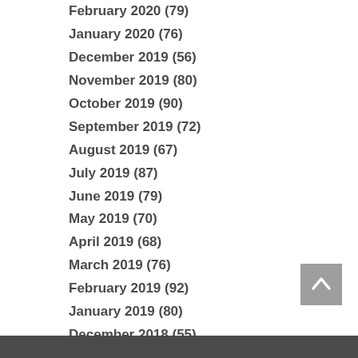February 2020 (79)
January 2020 (76)
December 2019 (56)
November 2019 (80)
October 2019 (90)
September 2019 (72)
August 2019 (67)
July 2019 (87)
June 2019 (79)
May 2019 (70)
April 2019 (68)
March 2019 (76)
February 2019 (92)
January 2019 (80)
December 2018 (55)
November 2018 (79)
October 2018 (85)
September 2018 (66)
August 2018 (82)